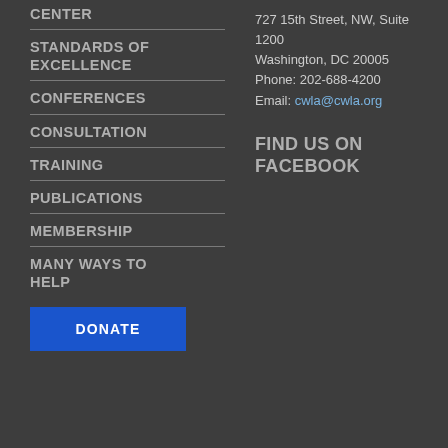CENTER
STANDARDS OF EXCELLENCE
CONFERENCES
CONSULTATION
TRAINING
PUBLICATIONS
MEMBERSHIP
MANY WAYS TO HELP
727 15th Street, NW, Suite 1200
Washington, DC 20005
Phone: 202-688-4200
Email: cwla@cwla.org
FIND US ON FACEBOOK
DONATE